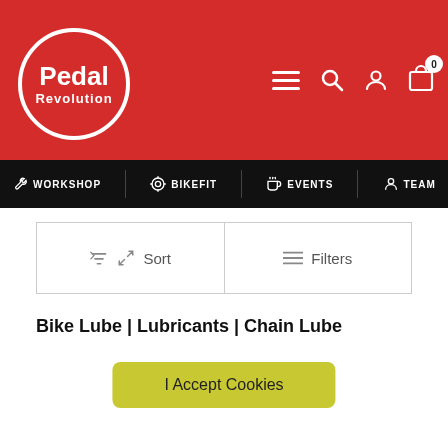[Figure (logo): Pedal Revolution logo — white circle outline on red background with 'Pedal' and 'Revolution' text]
Pedal Revolution – navigation header with hamburger menu, search, user, and cart icons
WORKSHOP | BIKEFIT | EVENTS | TEAM
Sort   Filters
Bike Lube | Lubricants | Chain Lube
I Accept Cookies